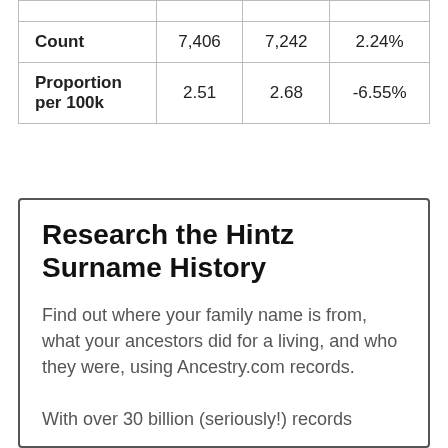|  |  |  |  |
| --- | --- | --- | --- |
|  |  |  |  |
| Count | 7,406 | 7,242 | 2.24% |
| Proportion per 100k | 2.51 | 2.68 | -6.55% |
Research the Hintz Surname History
Find out where your family name is from, what your ancestors did for a living, and who they were, using Ancestry.com records.
With over 30 billion (seriously!) records